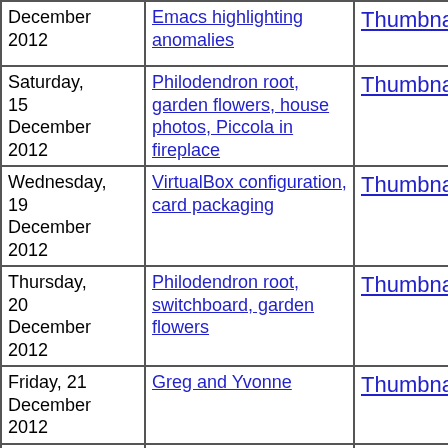| Date | Description | Thumbnails | Small photos | diary |
| --- | --- | --- | --- | --- |
| December 2012 | Emacs highlighting anomalies | Thumbnails | Small photos | diary |
| Saturday, 15 December 2012 | Philodendron root, garden flowers, house photos, Piccola in fireplace | Thumbnails | Small photos | diary |
| Wednesday, 19 December 2012 | VirtualBox configuration, card packaging | Thumbnails | Small photos | diary |
| Thursday, 20 December 2012 | Philodendron root, switchboard, garden flowers | Thumbnails | Small photos | diary |
| Friday, 21 December 2012 | Greg and Yvonne | Thumbnails | Small photos | diary |
| Saturday, 22 December 2012 | House photos | Thumbnails | Small photos | diary |
| Monday, 24 December | Jammed oven tray, Christm... | Thumbnails | Small photos | diary |